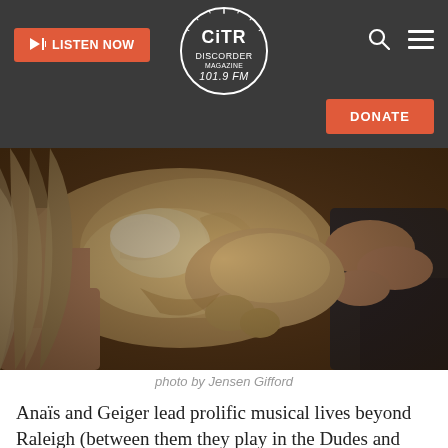LISTEN NOW | CiTR Discorder 101.9 FM | DONATE
[Figure (photo): Two people petting a golden/fluffy cat lying on its back between them, warm indoor lighting, muted tones]
photo by Jensen Gifford
Anaïs and Geiger lead prolific musical lives beyond Raleigh (between them they play in the Dudes and